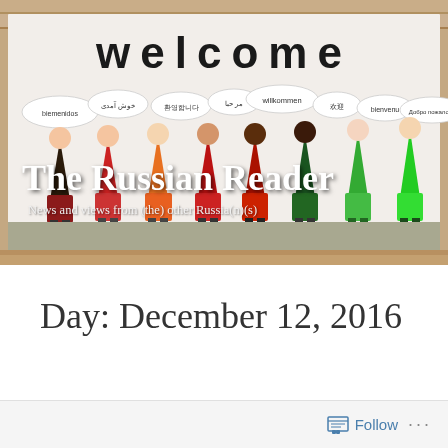[Figure (photo): A blog header image showing a 'welcome' banner with cartoon gnome figures holding hands, each with a speech bubble saying welcome in different languages. Overlaid with blog title text 'The Russian Reader' and subtitle 'News and views from (the) other Russia(n)(s)'.]
The Russian Reader
News and views from (the) other Russia(n)(s)
Day: December 12, 2016
Follow ...